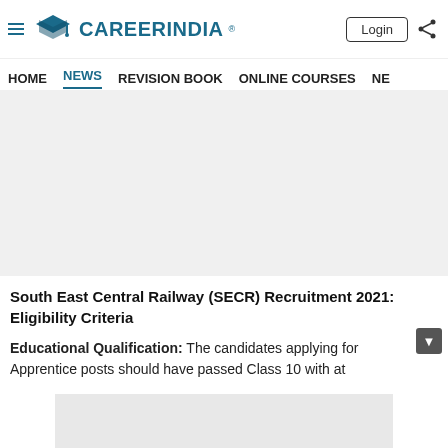CareerIndia - HOME | NEWS | REVISION BOOK | ONLINE COURSES | NE
[Figure (other): Advertisement banner placeholder area (gray background)]
South East Central Railway (SECR) Recruitment 2021: Eligibility Criteria
Educational Qualification: The candidates applying for Apprentice posts should have passed Class 10 with at...